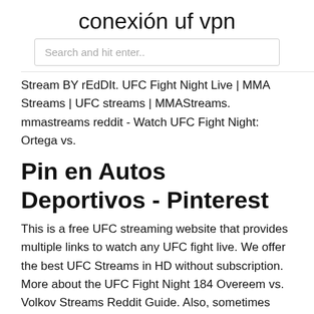conexión uf vpn
Search and hit enter..
Stream BY rEdDIt. UFC Fight Night Live | MMA Streams | UFC streams | MMAStreams. mmastreams reddit - Watch UFC Fight Night: Ortega vs.
Pin en Autos Deportivos - Pinterest
This is a free UFC streaming website that provides multiple links to watch any UFC fight live. We offer the best UFC Streams in HD without subscription. More about the UFC Fight Night 184 Overeem vs. Volkov Streams Reddit Guide. Also, sometimes there are links that might not be streaming correctly, in these cases, you can just search for some more links, which work best. We cover all the MMA fights and UFC tournaments.
Eventos de Mma Fight en Liverpool, Reino Unido Eventbrite
UFC president Dana White was not impressed by what he